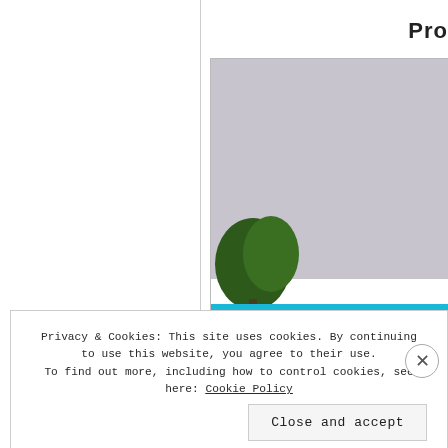Pro
[Figure (photo): Outdoor photo showing a sky with clouds, a green tree, and a large cyan/blue wall or structure with dark block letters partially visible spelling 'FLO' or similar.]
Privacy & Cookies: This site uses cookies. By continuing to use this website, you agree to their use. To find out more, including how to control cookies, see here: Cookie Policy
Close and accept